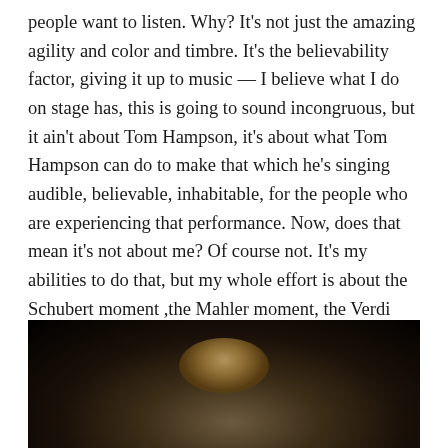people want to listen. Why? It's not just the amazing agility and color and timbre. It's the believability factor, giving it up to music — I believe what I do on stage has, this is going to sound incongruous, but it ain't about Tom Hampson, it's about what Tom Hampson can do to make that which he's singing audible, believable, inhabitable, for the people who are experiencing that performance. Now, does that mean it's not about me? Of course not. It's my abilities to do that, but my whole effort is about the Schubert moment ,the Mahler moment, the Verdi moment, the Wainwright moment, the O'Regan moment.
[Figure (photo): Close-up photograph of a person's head against a dark/black background, showing hair illuminated with warm light from below]